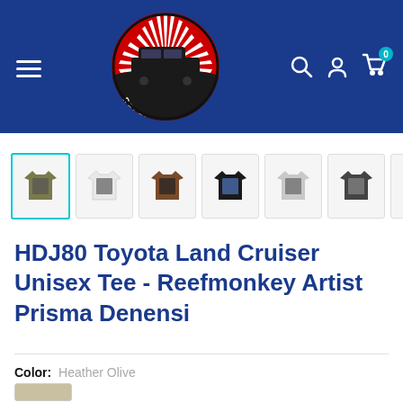[Figure (logo): Reefmonkey logo: red rising sun design with black Land Cruiser silhouette in a circle, set in blue navigation header bar]
[Figure (photo): Product thumbnail gallery showing 7 t-shirts in different colors: olive/khaki (selected), white, brown, black, light gray, dark gray, green]
HDJ80 Toyota Land Cruiser Unisex Tee - Reefmonkey Artist Prisma Denensi
Color: Heather Olive